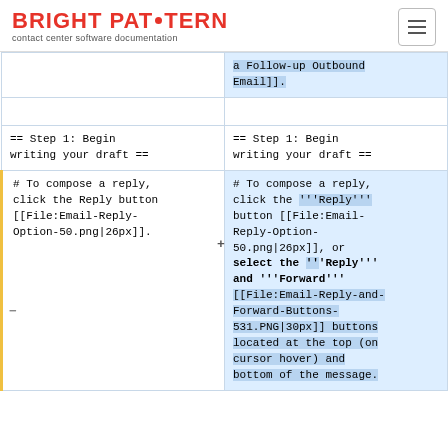BRIGHT PATTERN contact center software documentation
| Old version | New version |
| --- | --- |
|  | a Follow-up Outbound Email]]. |
|  |  |
| == Step 1: Begin writing your draft == | == Step 1: Begin writing your draft == |
| # To compose a reply, click the Reply button [[File:Email-Reply-Option-50.png|26px]]. | # To compose a reply, click the '''Reply''' button [[File:Email-Reply-Option-50.png|26px]], or select the '''Reply''' and '''Forward''' [[File:Email-Reply-and-Forward-Buttons-531.PNG|30px]] buttons located at the top (on cursor hover) and bottom of the message. |